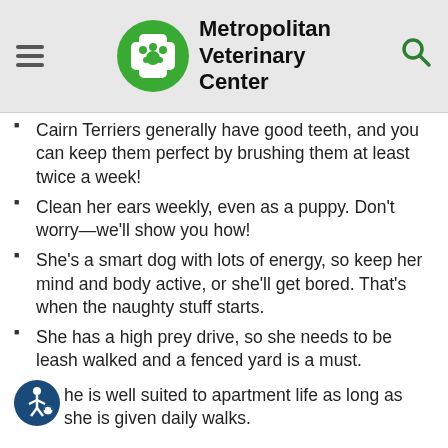Metropolitan Veterinary Center
Cairn Terriers generally have good teeth, and you can keep them perfect by brushing them at least twice a week!
Clean her ears weekly, even as a puppy. Don't worry—we'll show you how!
She's a smart dog with lots of energy, so keep her mind and body active, or she'll get bored. That's when the naughty stuff starts.
She has a high prey drive, so she needs to be leash walked and a fenced yard is a must.
She is well suited to apartment life as long as she is given daily walks.